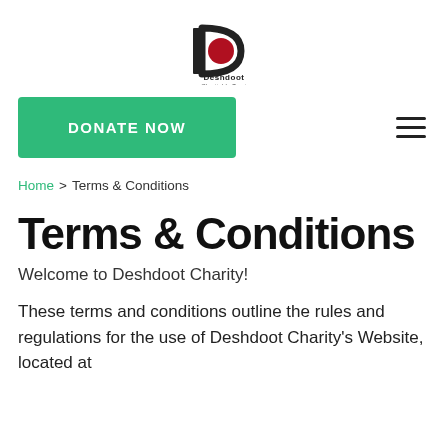[Figure (logo): Deshdoot Charitable Trust logo — stylized D with red circle, text below]
DONATE NOW
Home > Terms & Conditions
Terms & Conditions
Welcome to Deshdoot Charity!
These terms and conditions outline the rules and regulations for the use of Deshdoot Charity's Website, located at